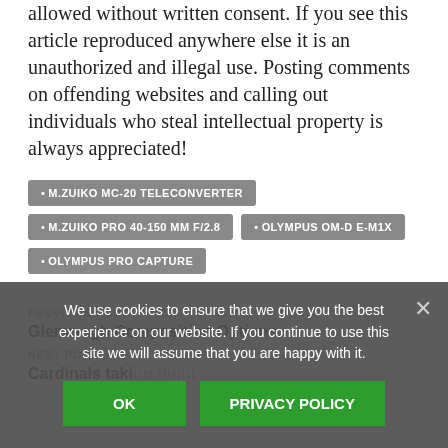allowed without written consent. If you see this article reproduced anywhere else it is an unauthorized and illegal use. Posting comments on offending websites and calling out individuals who steal intellectual property is always appreciated!
M.ZUIKO MC-20 TELECONVERTER
M.ZUIKO PRO 40-150 MM F/2.8
OLYMPUS OM-D E-M1X
OLYMPUS PRO CAPTURE
PREVIOUS POST
Glenveagh Composition Options
NEXT POST
Cardinals taking flight
We use cookies to ensure that we give you the best experience on our website. If you continue to use this site we will assume that you are happy with it.
OK
PRIVACY POLICY